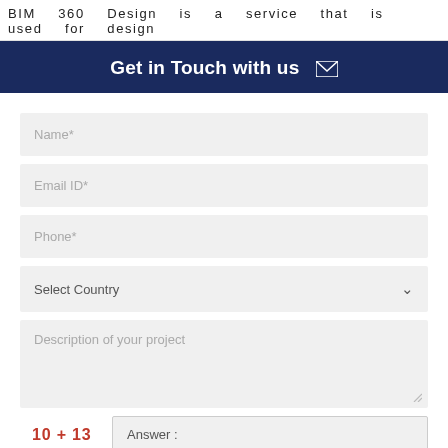BIM 360 Design is a service that is used for design
Get in Touch with us ✉
Name*
Email ID*
Phone*
Select Country
Description of your project
10 + 13   Answer :
SUBMIT